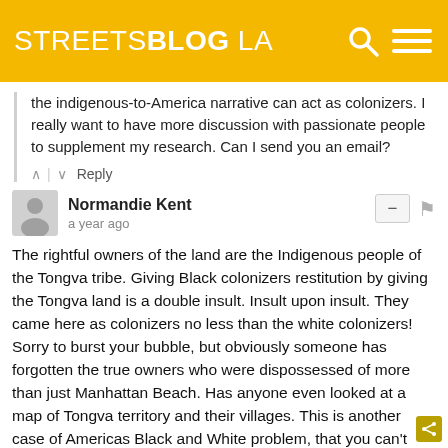STREETSBLOG LA
the indigenous-to-America narrative can act as colonizers. I really want to have more discussion with passionate people to supplement my research. Can I send you an email?
^ | v  Reply
Normandie Kent
a year ago
The rightful owners of the land are the Indigenous people of the Tongva tribe. Giving Black colonizers restitution by giving the Tongva land is a double insult. Insult upon insult. They came here as colonizers no less than the white colonizers! Sorry to burst your bubble, but obviously someone has forgotten the true owners who were dispossessed of more than just Manhattan Beach. Has anyone even looked at a map of Tongva territory and their villages. This is another case of Americas Black and White problem, that you can't see past anyone but your sorry selves!!